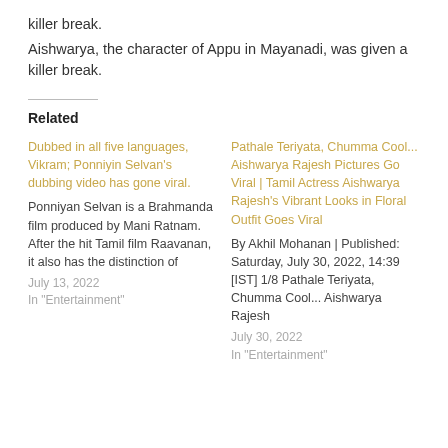killer break.
Aishwarya, the character of Appu in Mayanadi, was given a killer break.
Related
Dubbed in all five languages, Vikram; Ponniyin Selvan's dubbing video has gone viral.
Ponniyan Selvan is a Brahmanda film produced by Mani Ratnam. After the hit Tamil film Raavanan, it also has the distinction of
July 13, 2022
In "Entertainment"
Pathale Teriyata, Chumma Cool... Aishwarya Rajesh Pictures Go Viral | Tamil Actress Aishwarya Rajesh's Vibrant Looks in Floral Outfit Goes Viral
By Akhil Mohanan | Published: Saturday, July 30, 2022, 14:39 [IST] 1/8 Pathale Teriyata, Chumma Cool... Aishwarya Rajesh
July 30, 2022
In "Entertainment"